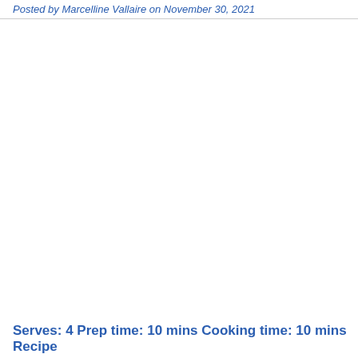Posted by Marcelline Vallaire on November 30, 2021
Serves: 4 Prep time: 10 mins Cooking time: 10 mins Recipe